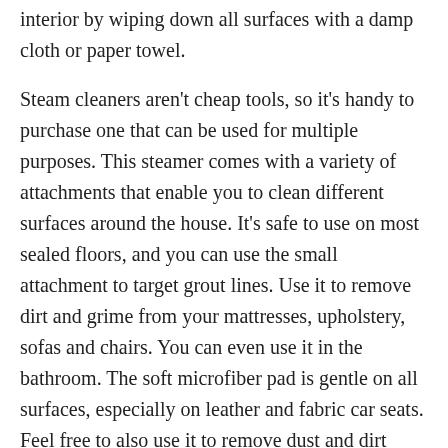interior by wiping down all surfaces with a damp cloth or paper towel.
Steam cleaners aren't cheap tools, so it's handy to purchase one that can be used for multiple purposes. This steamer comes with a variety of attachments that enable you to clean different surfaces around the house. It's safe to use on most sealed floors, and you can use the small attachment to target grout lines. Use it to remove dirt and grime from your mattresses, upholstery, sofas and chairs. You can even use it in the bathroom. The soft microfiber pad is gentle on all surfaces, especially on leather and fabric car seats. Feel free to also use it to remove dust and dirt from car doors and even grease stains from the engine.